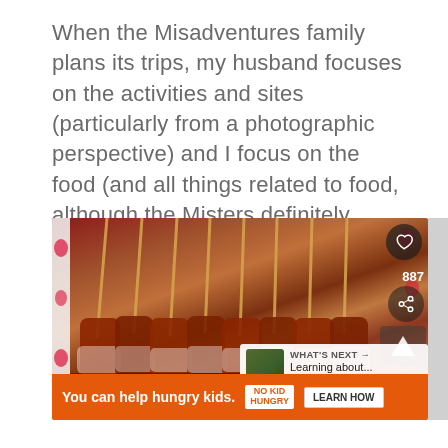When the Misadventures family plans its trips, my husband focuses on the activities and sites (particularly from a photographic perspective) and I focus on the food (and all things related to food, although the Misters definitely contributes).
[Figure (photo): Photo of grilled squid skewers on a strawberry-patterned plate, with social sharing UI overlaid (heart button, share count 887, share icon, arrow, 'What's Next: Learning about...' preview panel)]
WHAT'S NEXT → Learning about...
You can help hungry kids. NO KID HUNGRY LEARN HOW